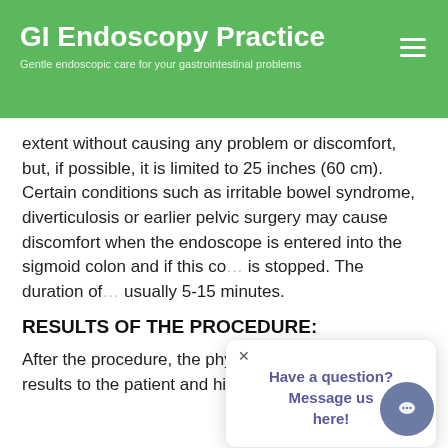GI Endoscopy Practice
Gentle endoscopic care for your gastrointestinal problems
extent without causing any problem or discomfort, but, if possible, it is limited to 25 inches (60 cm). Certain conditions such as irritable bowel syndrome, diverticulosis or earlier pelvic surgery may cause discomfort when the endoscope is entered into the sigmoid colon and if this co… is stopped. The duration of … usually 5-15 minutes.
RESULTS OF THE PROCEDURE:
After the procedure, the physician explains th… results to the patient and his/her family. If the